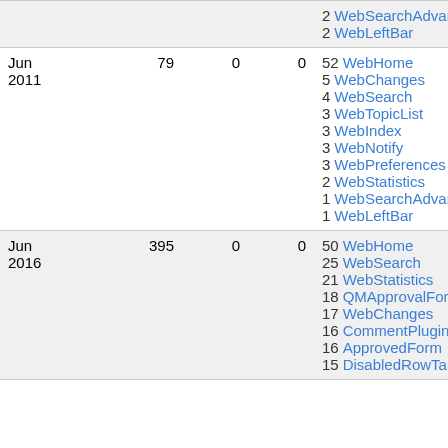| Date | Views | Col3 | Col4 | Top Pages |
| --- | --- | --- | --- | --- |
|  |  |  |  | 2 WebSearchAdvanced
2 WebLeftBar |
| Jun 2011 | 79 | 0 | 0 | 52 WebHome
5 WebChanges
4 WebSearch
3 WebTopicList
3 WebIndex
3 WebNotify
3 WebPreferences
2 WebStatistics
1 WebSearchAdvanced
1 WebLeftBar |
| Jun 2016 | 395 | 0 | 0 | 50 WebHome
25 WebSearch
21 WebStatistics
18 QMApprovalForm
17 WebChanges
16 CommentPluginExample
16 ApprovedForm
15 DisabledRowTab... |